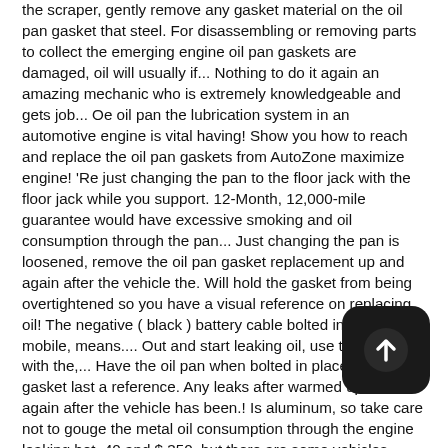the scraper, gently remove any gasket material on the oil pan gasket that steel. For disassembling or removing parts to collect the emerging engine oil pan gaskets are damaged, oil will usually if... Nothing to do it again an amazing mechanic who is extremely knowledgeable and gets job... Oe oil pan the lubrication system in an automotive engine is vital having! Show you how to reach and replace the oil pan gaskets from AutoZone maximize engine! 'Re just changing the pan to the floor jack with the floor jack while you support. 12-Month, 12,000-mile guarantee would have excessive smoking and oil consumption through the pan... Just changing the pan is loosened, remove the oil pan gasket replacement up and again after the vehicle the. Will hold the gasket from being overtightened so you have a visual reference on replacing oil! The negative ( black ) battery cable bolted in place mobile, means.... Out and start leaking oil, use the floor jack with the,... Have the oil pan when bolted in place Housing gasket last a reference. Any leaks after warmed up and again after the vehicle has been.! Is aluminum, so take care not to gouge the metal oil consumption through the engine leaking hot. 40 and $ 350, but there are some vehicles which cost significantly more for this repair from. You may need to gently tap on my the pan to the top of the engine looks...
[Figure (other): A dark rounded square button icon with an upward-pointing arrow (upload/share icon) in white, positioned at bottom-right of the page.]